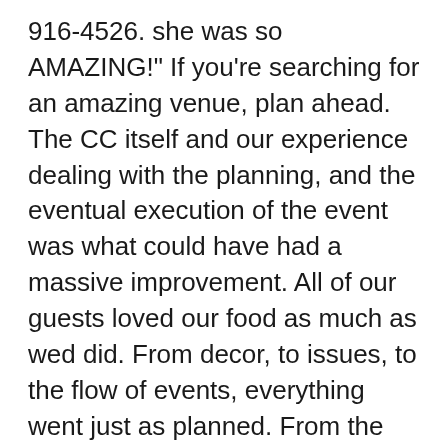916-4526. she was so AMAZING!" If you're searching for an amazing venue, plan ahead. The CC itself and our experience dealing with the planning, and the eventual execution of the event was what could have had a massive improvement. All of our guests loved our food as much as wed did. From decor, to issues, to the flow of events, everything went just as planned. From the floors to the ceiling, to the ambiance that sets the mood, from the beginning to the end. The Cuvier Club is a tremendous value when compared to other San Diego reception halls as many decor rentals are included complimentary! Restaurant Services Reservation System Online Payments Submit Restaurant Update Restaurant Prices W...